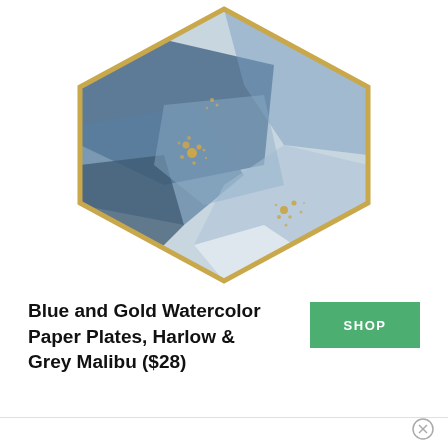[Figure (photo): A hexagonal paper plate with a blue and gold watercolor design, framed with a gold hexagonal border. The plate features abstract watercolor washes in shades of blue and white with gold speckle accents.]
Blue and Gold Watercolor Paper Plates, Harlow & Grey Malibu ($28)